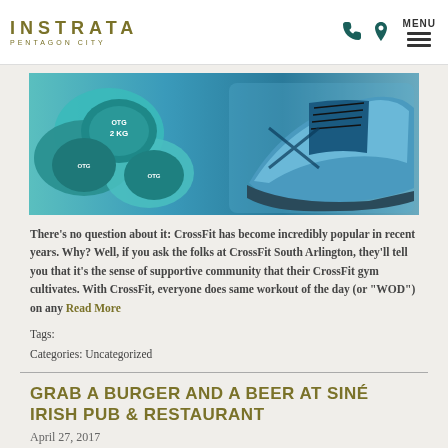INSTRATA PENTAGON CITY
[Figure (photo): Fitness equipment photo showing blue dumbbells (2 KG) and a pair of blue/black athletic sneakers]
There’s no question about it: CrossFit has become incredibly popular in recent years. Why? Well, if you ask the folks at CrossFit South Arlington, they’ll tell you that it’s the sense of supportive community that their CrossFit gym cultivates.  With CrossFit, everyone does same workout of the day (or “WOD”) on any  Read More
Tags:
Categories: Uncategorized
GRAB A BURGER AND A BEER AT SINÉ IRISH PUB & RESTAURANT
April 27, 2017
[Figure (photo): Bottom strip image of food or pub interior in warm amber tones]